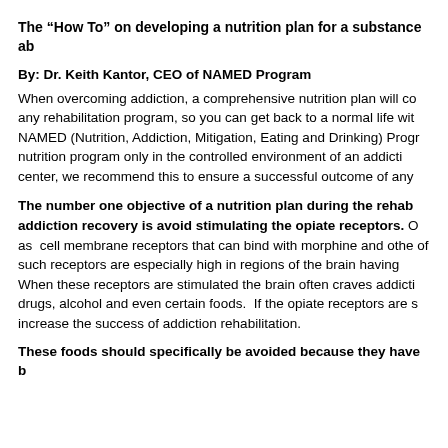The “How To” on developing a nutrition plan for a substance ab
By: Dr. Keith Kantor, CEO of NAMED Program
When overcoming addiction, a comprehensive nutrition plan will co any rehabilitation program, so you can get back to a normal life wit NAMED (Nutrition, Addiction, Mitigation, Eating and Drinking) Progr nutrition program only in the controlled environment of an addicti center, we recommend this to ensure a successful outcome of any
The number one objective of a nutrition plan during the rehab addiction recovery is avoid stimulating the opiate receptors. O as cell membrane receptors that can bind with morphine and othe of such receptors are especially high in regions of the brain having When these receptors are stimulated the brain often craves addicti drugs, alcohol and even certain foods. If the opiate receptors are s increase the success of addiction rehabilitation.
These foods should specifically be avoided because they have b